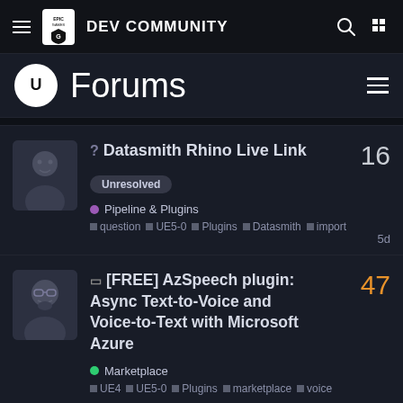EPIC GAMES DEV COMMUNITY
Forums
Datasmith Rhino Live Link • Unresolved • Pipeline & Plugins • question • UE5-0 • Plugins • Datasmith • import • 16 replies • 5d
[FREE] AzSpeech plugin: Async Text-to-Voice and Voice-to-Text with Microsoft Azure • Marketplace • UE4 • UE5-0 • Plugins • marketplace • voice • 47 replies